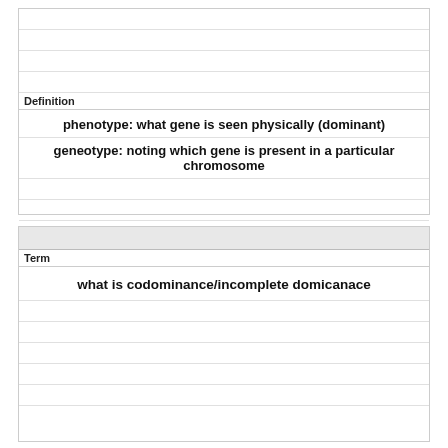Definition
phenotype: what gene is seen physically (dominant)
geneotype: noting which gene is present in a particular chromosome
Term
what is codominance/incomplete domicanace